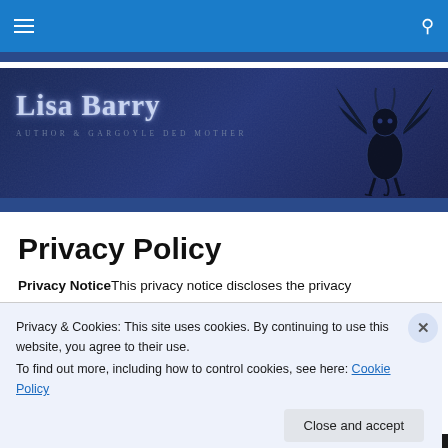Navigation bar with hamburger menu and search icon
[Figure (illustration): Lisa Barry author website banner with stylized serif font 'Lisa Barry' text, subtitle 'AUTHOR & GARGOYLE DED MOTHER' and a dark gargoyle illustration on dark blue background]
Privacy Policy
Privacy NoticeThis privacy notice discloses the privacy
Privacy & Cookies: This site uses cookies. By continuing to use this website, you agree to their use.
To find out more, including how to control cookies, see here: Cookie Policy
Close and accept